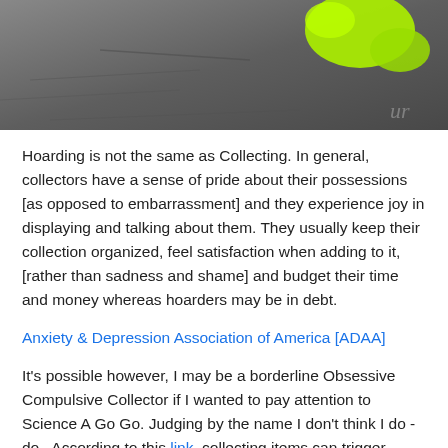[Figure (photo): Partial image of an object on a dark asphalt/concrete surface, with a bright yellow-green item visible at the top right]
Hoarding is not the same as Collecting. In general, collectors have a sense of pride about their possessions [as opposed to embarrassment] and they experience joy in displaying and talking about them. They usually keep their collection organized, feel satisfaction when adding to it, [rather than sadness and shame] and budget their time and money whereas hoarders may be in debt.
Anxiety & Depression Association of America [ADAA]
It's possible however, I may be a borderline Obsessive Compulsive Collector if I wanted to pay attention to Science A Go Go. Judging by the name I don't think I do - do.  According to this link, collecting items can trigger